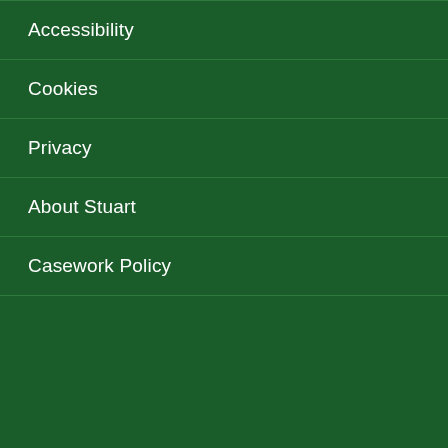Accessibility
Cookies
Privacy
About Stuart
Casework Policy
This site uses cookies to optimise your user experience.

Only essential cookies are set. To find out more, including how to opt out, please visit the Cookies page.
OK  Hide this message and remember my decision